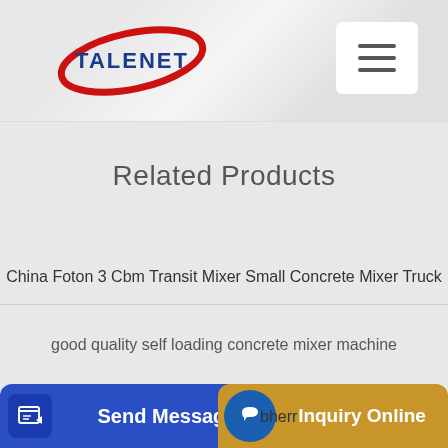[Figure (logo): TALENET company logo with red oval/ellipse shape and blue text]
[Figure (other): Hamburger menu button (three horizontal bars) in white rounded rectangle]
Related Products
China Foton 3 Cbm Transit Mixer Small Concrete Mixer Truck
good quality self loading concrete mixer machine
bherr
[Figure (other): Send Message button - blue rectangle with edit icon and white text]
[Figure (other): Inquiry Online button - gold/yellow rectangle with blue chat icon and white text]